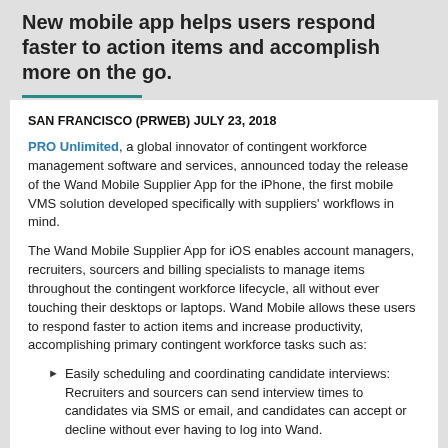New mobile app helps users respond faster to action items and accomplish more on the go.
SAN FRANCISCO (PRWEB) JULY 23, 2018
PRO Unlimited, a global innovator of contingent workforce management software and services, announced today the release of the Wand Mobile Supplier App for the iPhone, the first mobile VMS solution developed specifically with suppliers' workflows in mind.
The Wand Mobile Supplier App for iOS enables account managers, recruiters, sourcers and billing specialists to manage items throughout the contingent workforce lifecycle, all without ever touching their desktops or laptops. Wand Mobile allows these users to respond faster to action items and increase productivity, accomplishing primary contingent workforce tasks such as:
Easily scheduling and coordinating candidate interviews: Recruiters and sourcers can send interview times to candidates via SMS or email, and candidates can accept or decline without ever having to log into Wand.
View new requests: Account managers can see new requests and associated billable assignments.